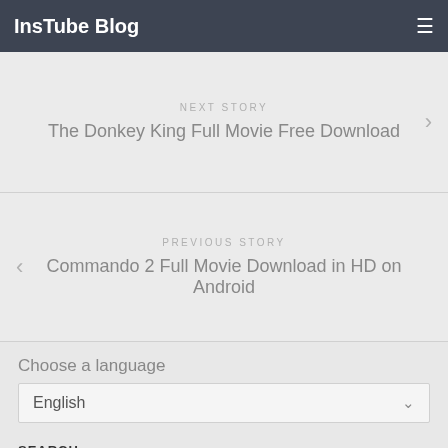InsTube Blog
NEXT STORY
The Donkey King Full Movie Free Download
PREVIOUS STORY
Commando 2 Full Movie Download in HD on Android
Choose a language
English
SEARCH
To search type and hit enter